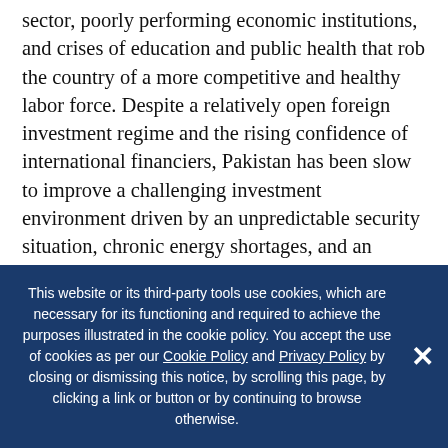sector, poorly performing economic institutions, and crises of education and public health that rob the country of a more competitive and healthy labor force. Despite a relatively open foreign investment regime and the rising confidence of international financiers, Pakistan has been slow to improve a challenging investment environment driven by an unpredictable security situation, chronic energy shortages, and an unfriendly business climate. Greater reform is needed to address Pakistan's lengthy dispute resolution processes, poor intellectual property rights enforcement, and
This website or its third-party tools use cookies, which are necessary for its functioning and required to achieve the purposes illustrated in the cookie policy. You accept the use of cookies as per our Cookie Policy and Privacy Policy by closing or dismissing this notice, by scrolling this page, by clicking a link or button or by continuing to browse otherwise.